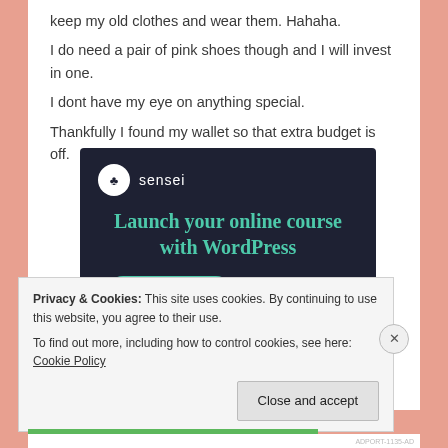keep my old clothes and wear them. Hahaha.
I do need a pair of pink shoes though and I will invest in one.
I dont have my eye on anything special.
Thankfully I found my wallet so that extra budget is off.
[Figure (screenshot): Sensei advertisement banner with dark navy background. Shows Sensei logo (tree icon in white circle) with text 'sensei'. Headline reads 'Launch your online course with WordPress' in teal/green color. Green rounded button labeled 'Learn More'.]
Privacy & Cookies: This site uses cookies. By continuing to use this website, you agree to their use.
To find out more, including how to control cookies, see here: Cookie Policy
Close and accept